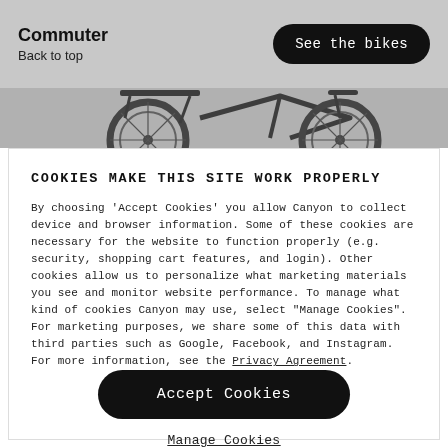Commuter
Back to top
See the bikes
[Figure (photo): Partial view of a dark-colored commuter bicycle against a grey background, showing the rear wheel, frame, and rear rack.]
COOKIES MAKE THIS SITE WORK PROPERLY
By choosing 'Accept Cookies' you allow Canyon to collect device and browser information. Some of these cookies are necessary for the website to function properly (e.g. security, shopping cart features, and login). Other cookies allow us to personalize what marketing materials you see and monitor website performance. To manage what kind of cookies Canyon may use, select "Manage Cookies". For marketing purposes, we share some of this data with third parties such as Google, Facebook, and Instagram. For more information, see the Privacy Agreement.
Accept Cookies
Manage Cookies